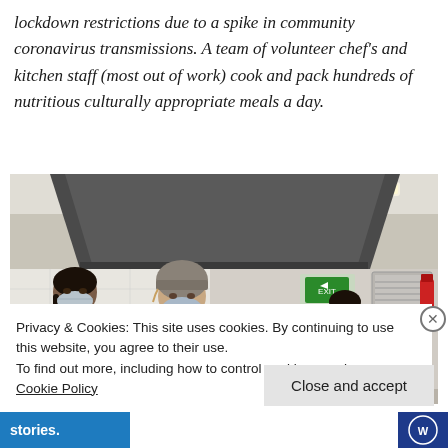lockdown restrictions due to a spike in community coronavirus transmissions. A team of volunteer chefs and kitchen staff (most out of work) cook and pack hundreds of nutritious culturally appropriate meals a day.
[Figure (photo): Three people wearing face masks working in a commercial kitchen. Two are in the foreground working at a counter, one wearing a black chef's jacket, another in a white top with a grey hat. A third person is visible in the background near stainless steel equipment.]
Privacy & Cookies: This site uses cookies. By continuing to use this website, you agree to their use.
To find out more, including how to control cookies, see here: Cookie Policy
Close and accept
stories.